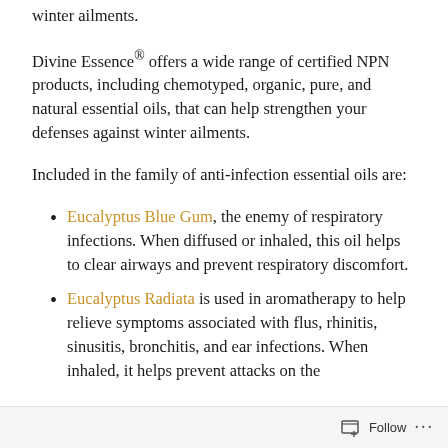winter ailments.
Divine Essence® offers a wide range of certified NPN products, including chemotyped, organic, pure, and natural essential oils, that can help strengthen your defenses against winter ailments.
Included in the family of anti-infection essential oils are:
Eucalyptus Blue Gum, the enemy of respiratory infections. When diffused or inhaled, this oil helps to clear airways and prevent respiratory discomfort.
Eucalyptus Radiata is used in aromatherapy to help relieve symptoms associated with flus, rhinitis, sinusitis, bronchitis, and ear infections. When inhaled, it helps prevent attacks on the
Follow